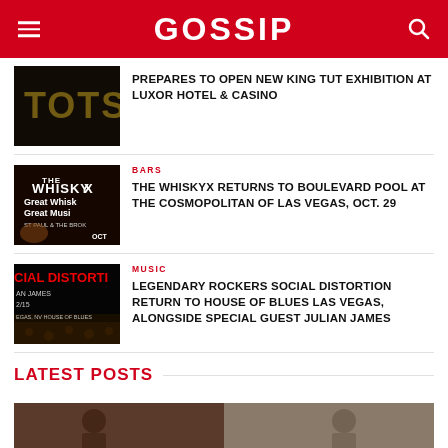GOSSIP
[Figure (photo): Dark thumbnail with 'TOTS' text visible, partial image]
PREPARES TO OPEN NEW KING TUT EXHIBITION AT LUXOR HOTEL & CASINO
[Figure (photo): Whisky X event poster with whisky glass, text: THE WHISKY, Great Whisk, Great Musi, ST PAUL & THE BROK, OCT]
BARS
THE WHISKYX RETURNS TO BOULEVARD POOL AT THE COSMOPOLITAN OF LAS VEGAS, OCT. 29
[Figure (photo): Social Distortion concert poster, CIAL DISTORT text, AN JAMES, 2/15, EGAS NV HOUSE OF BLUES, crowd photo]
MUSIC
LEGENDARY ROCKERS SOCIAL DISTORTION RETURN TO HOUSE OF BLUES LAS VEGAS, ALONGSIDE SPECIAL GUEST JULIAN JAMES
LATEST POSTS
[Figure (photo): Bottom image strip, partially visible, two-panel photo]